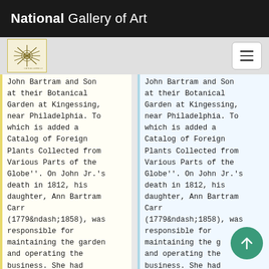National Gallery of Art
John Bartram and Son at their Botanical Garden at Kingessing, near Philadelphia. To which is added a Catalog of Foreign Plants Collected from Various Parts of the Globe''. On John Jr.'s death in 1812, his daughter, Ann Bartram Carr (1779&ndash;1858), was responsible for maintaining the garden and operating the business. She had learned the science of
John Bartram and Son at their Botanical Garden at Kingessing, near Philadelphia. To which is added a Catalog of Foreign Plants Collected from Various Parts of the Globe''. On John Jr.'s death in 1812, his daughter, Ann Bartram Carr (1779&ndash;1858), was responsible for maintaining the g and operating the business. She had learned the science of